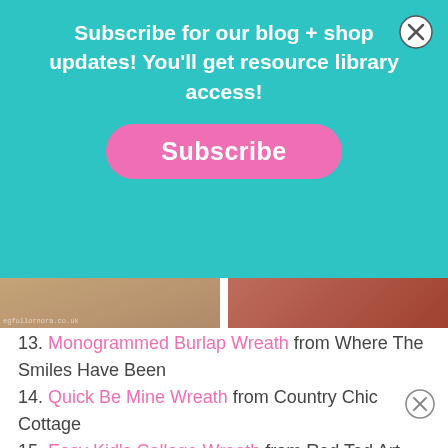[Figure (infographic): Teal subscription popup banner with white bold text 'Subscribe for our blog + shop updates! You'll get resource library access!' and a pink rounded rectangle Subscribe button. A circular X close button is in the top right.]
[Figure (photo): Two small partial photos of wreaths — left shows a brown/beige wreath with a small watermark text, right shows a red tinsel-style wreath.]
13. Monogrammed Burlap Wreath from Where The Smiles Have Been
14. Quick Be Mine Wreath from Country Chic Cottage
15. Easy Kid's Collage Wreath from Red Ted Art
16. Candy Heart Wreath from Needlepointers
[Figure (photo): Two wreath photos side by side: left is a red tinsel/metallic wreath, right is a wreath made of paper tube hearts on a white background.]